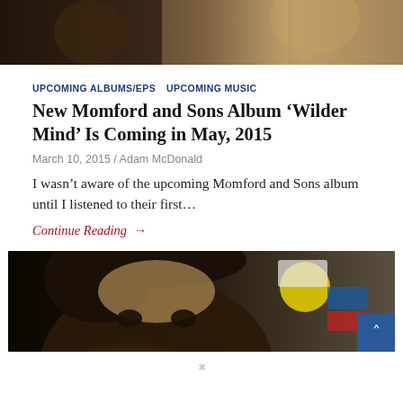[Figure (photo): Top portion of a photo showing people standing, partially cropped]
UPCOMING ALBUMS/EPS   UPCOMING MUSIC
New Momford and Sons Album ‘Wilder Mind’ Is Coming in May, 2015
March 10, 2015 / Adam McDonald
I wasn’t aware of the upcoming Momford and Sons album until I listened to their first...
Continue Reading →
[Figure (photo): Close-up photo of a man's face with curly dark hair, with colorful stickers/flyers visible in background]